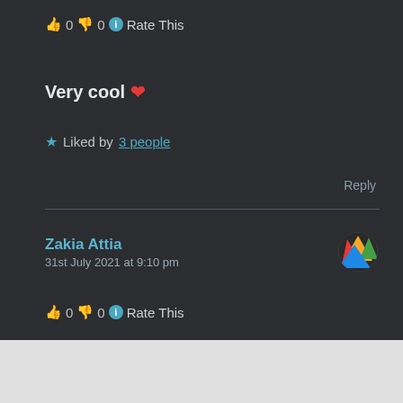👍 0 👎 0 ℹ Rate This
Very cool ❤️
★ Liked by 3 people
Reply
Zakia Attia
31st July 2021 at 9:10 pm
👍 0 👎 0 ℹ Rate This
Advertisements
[Figure (illustration): Day One journaling app advertisement banner with blue background showing app icons and text 'The only journaling app you'll ever need.']